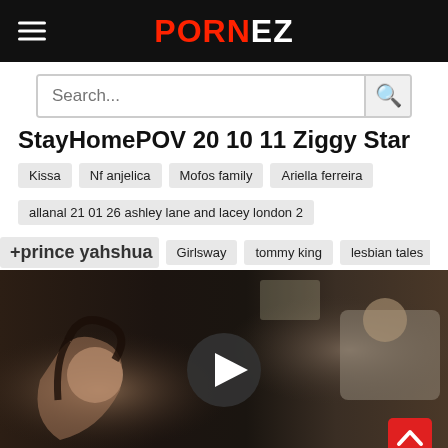PORNEZ
Search...
StayHomePOV 20 10 11 Ziggy Star
Kissa
Nf anjelica
Mofos family
Ariella ferreira
allanal 21 01 26 ashley lane and lacey london 2
+prince yahshua
Girlsway
tommy king
lesbian tales
[Figure (screenshot): Video thumbnail showing two people, with a circular play button overlay in the center. A red scroll-to-top button appears in the bottom right corner.]